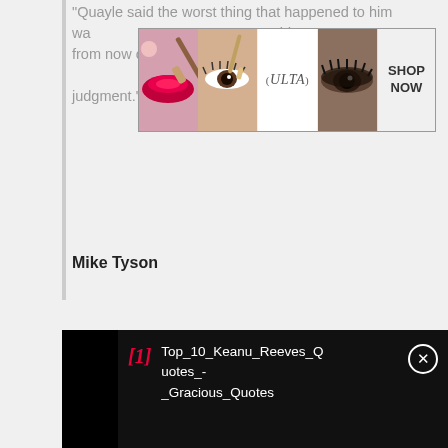"Quayle said the worst thing that happened to him was... said from now on I am going to go with my own judgment."
[Figure (photo): ULTA Beauty advertisement banner with makeup images (lips with brush, eye with eyeshadow, eye closeup, ULTA logo, eye closeup) and SHOP NOW button]
Mike Tyson
[Figure (illustration): Black background quote card with large gold opening quotation marks and white serif text: "It's good to know how to read, but it's dangerous to"]
Top_10_Keanu_Reeves_Quotes_-_Gracious_Quotes